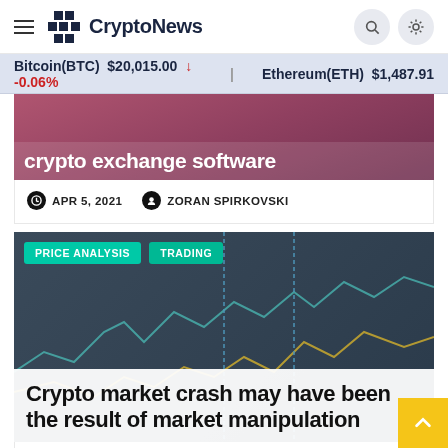CryptoNews
Bitcoin(BTC) $20,015.00 ↓ -0.06%   Ethereum(ETH) $1,487.91
crypto exchange software
APR 5, 2021   ZORAN SPIRKOVSKI
PRICE ANALYSIS   TRADING
Crypto market crash may have been the result of market manipulation
AUG 2, 2020   ZORAN SPIRKOVSKI